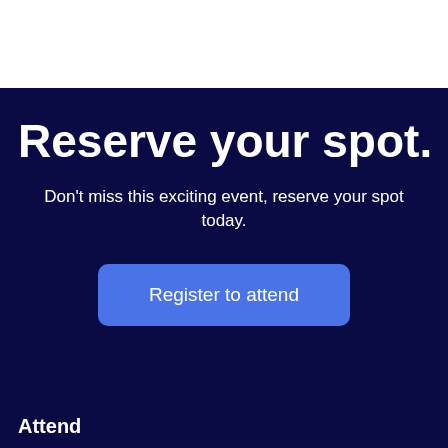Reserve your spot.
Don't miss this exciting event, reserve your spot today.
Register to attend
Attend